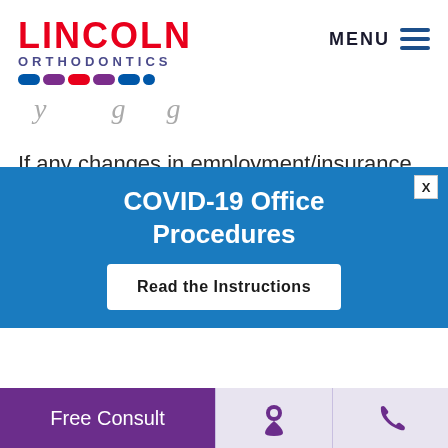LINCOLN ORTHODONTICS
If any changes in employment/insurance coverage occur during treatment, it is the responsibility of the subscriber to inform our office if a new claim needs to be submitted.
COVID-19 Office Procedures
Read the Instructions
Free Consult